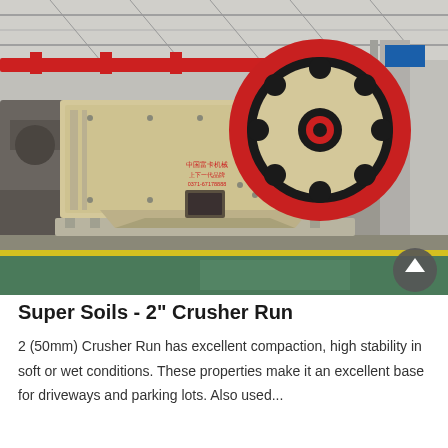[Figure (photo): Industrial jaw crusher machine, cream/beige colored with a large red and black flywheel, photographed inside a factory/warehouse with steel structure visible in background. Yellow floor marking line visible at bottom.]
Super Soils - 2" Crusher Run
2 (50mm) Crusher Run has excellent compaction, high stability in soft or wet conditions. These properties make it an excellent base for driveways and parking lots. Also used...